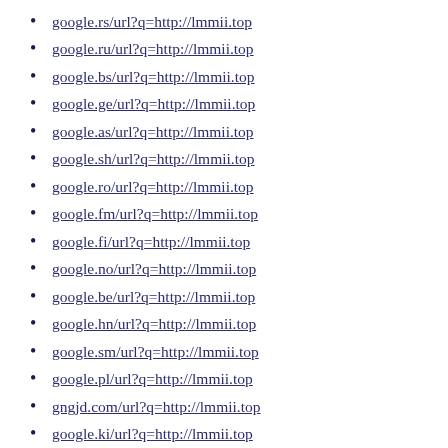google.rs/url?q=http://lmmii.top
google.ru/url?q=http://lmmii.top
google.bs/url?q=http://lmmii.top
google.ge/url?q=http://lmmii.top
google.as/url?q=http://lmmii.top
google.sh/url?q=http://lmmii.top
google.ro/url?q=http://lmmii.top
google.fm/url?q=http://lmmii.top
google.fi/url?q=http://lmmii.top
google.no/url?q=http://lmmii.top
google.be/url?q=http://lmmii.top
google.hn/url?q=http://lmmii.top
google.sm/url?q=http://lmmii.top
google.pl/url?q=http://lmmii.top
gngjd.com/url?q=http://lmmii.top
google.ki/url?q=http://lmmii.top
google.lk/url?q=http://lmmii.top
google.ba/url?q=http://lmmii.top
google.us/url?q=http://lmmii.top